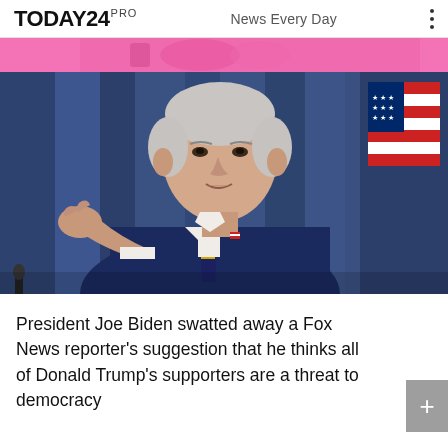TODAY24 PRO   News Every Day
[Figure (photo): President Joe Biden in a navy blue suit with striped tie, gesturing with his right hand, blue curtain backdrop, American flag visible on right side]
President Joe Biden swatted away a Fox News reporter's suggestion that he thinks all of Donald Trump's supporters are a threat to democracy